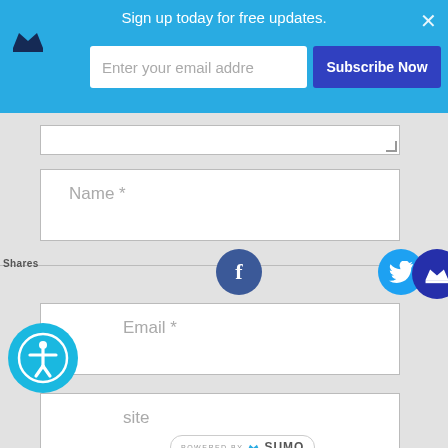[Figure (screenshot): Top banner with email subscription form: 'Sign up today for free updates.' text, email input field showing 'Enter your email addre', blue 'Subscribe Now' button, crown logo, and X close button on cyan/blue background]
[Figure (screenshot): Website comment form area showing Name* and Email* fields, social share icons (Facebook, Twitter, Pinterest), accessibility icon, Sumo share button, and 'Powered by SUMO' badge]
[Figure (screenshot): Welcome popup panel on cyan background with WELCOME title, 'Signup today for free weekly updates that will be encouraging and challenging.' text, email input, and Subscribe Now button]